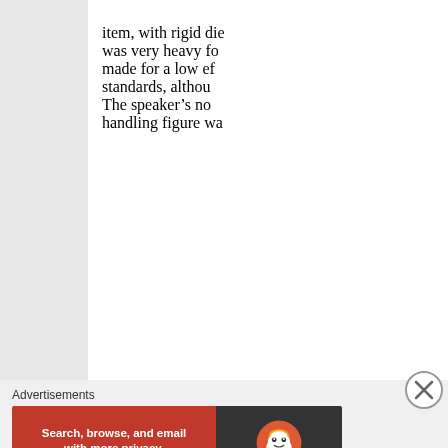item, with rigid die… was very heavy fo… made for a low ef… standards, althou… The speaker's no… handling figure wa…
[Figure (other): Close/dismiss button (circled X) on the right side]
Advertisements
[Figure (other): DuckDuckGo advertisement banner: orange left side with text 'Search, browse, and email with more privacy. All in One Free App', dark right side with DuckDuckGo duck logo and DuckDuckGo text]